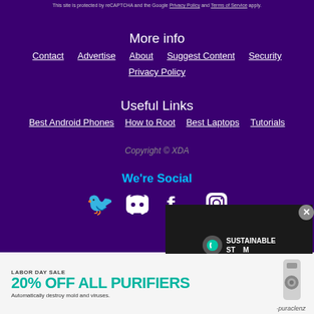This site is protected by reCAPTCHA and the Google Privacy Policy and Terms of Service apply.
More info
Contact
Advertise
About
Suggest Content
Security
Privacy Policy
Useful Links
Best Android Phones
How to Root
Best Laptops
Tutorials
Copyright © XDA
We're Social
[Figure (screenshot): Social media icons: Twitter, Discord, Facebook, and more on purple background]
[Figure (screenshot): Video overlay showing Sustainable Steam brand with play button and teal progress bar]
[Figure (infographic): Advertisement: Labor Day Sale 20% OFF ALL PURIFIERS - Automatically destroy mold and viruses. Puraclenz brand.]